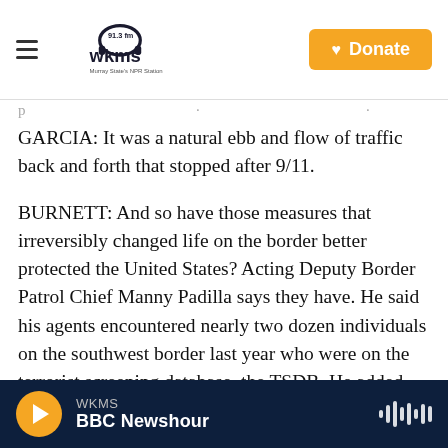WKMS 91.3 fm — Murray State's NPR Station | Donate
GARCIA: It was a natural ebb and flow of traffic back and forth that stopped after 9/11.
BURNETT: And so have those measures that irreversibly changed life on the border better protected the United States? Acting Deputy Border Patrol Chief Manny Padilla says they have. He said his agents encountered nearly two dozen individuals on the southwest border last year who were on the terrorist screening database, the TSDB. He added they're not all terrorists. Some are family
WKMS — BBC Newshour